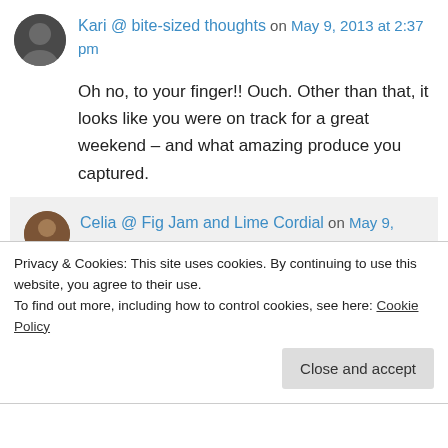Kari @ bite-sized thoughts on May 9, 2013 at 2:37 pm
Oh no, to your finger!! Ouch. Other than that, it looks like you were on track for a great weekend – and what amazing produce you captured.
Celia @ Fig Jam and Lime Cordial on May 9, 2013 at 7:19 pm
Kari, the produce was just so interesting!
Privacy & Cookies: This site uses cookies. By continuing to use this website, you agree to their use.
To find out more, including how to control cookies, see here: Cookie Policy
Close and accept